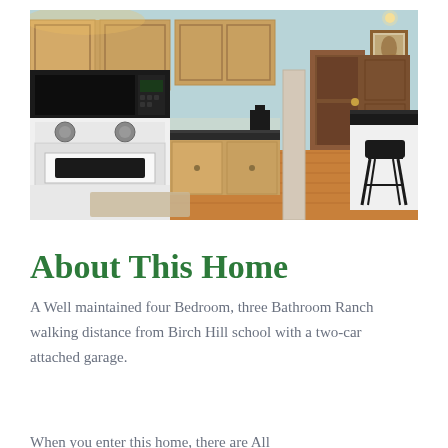[Figure (photo): Interior kitchen photo showing light wood cabinets, black microwave, white stove/range, black granite countertops, hardwood floors, and a breakfast bar with a black bar stool. Light blue walls visible in background with a staircase and wooden doors.]
About This Home
A Well maintained four Bedroom, three Bathroom Ranch walking distance from Birch Hill school with a two-car attached garage.
When you enter this home, there are...